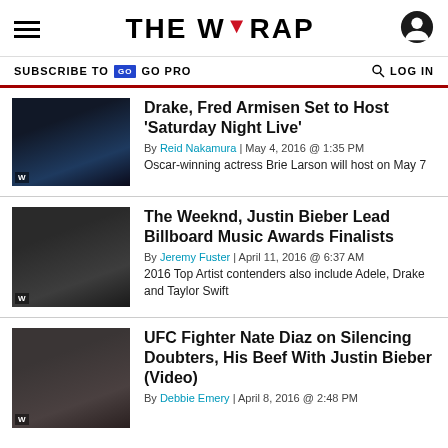THE WRAP
SUBSCRIBE TO GO PRO   LOG IN
Drake, Fred Armisen Set to Host 'Saturday Night Live'
By Reid Nakamura | May 4, 2016 @ 1:35 PM
Oscar-winning actress Brie Larson will host on May 7
The Weeknd, Justin Bieber Lead Billboard Music Awards Finalists
By Jeremy Fuster | April 11, 2016 @ 6:37 AM
2016 Top Artist contenders also include Adele, Drake and Taylor Swift
UFC Fighter Nate Diaz on Silencing Doubters, His Beef With Justin Bieber (Video)
By Debbie Emery | April 8, 2016 @ 2:48 PM